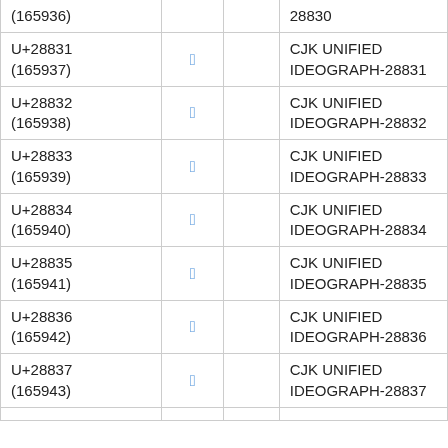| Code point | Glyph |  | Name |
| --- | --- | --- | --- |
| U+28830 (165936) | 𨠰 |  | CJK UNIFIED IDEOGRAPH-28830 |
| U+28831 (165937) | 𨠱 |  | CJK UNIFIED IDEOGRAPH-28831 |
| U+28832 (165938) | 𨠲 |  | CJK UNIFIED IDEOGRAPH-28832 |
| U+28833 (165939) | 𨠳 |  | CJK UNIFIED IDEOGRAPH-28833 |
| U+28834 (165940) | 𨠴 |  | CJK UNIFIED IDEOGRAPH-28834 |
| U+28835 (165941) | 𨠵 |  | CJK UNIFIED IDEOGRAPH-28835 |
| U+28836 (165942) | 𨠶 |  | CJK UNIFIED IDEOGRAPH-28836 |
| U+28837 (165943) | 𨠷 |  | CJK UNIFIED IDEOGRAPH-28837 |